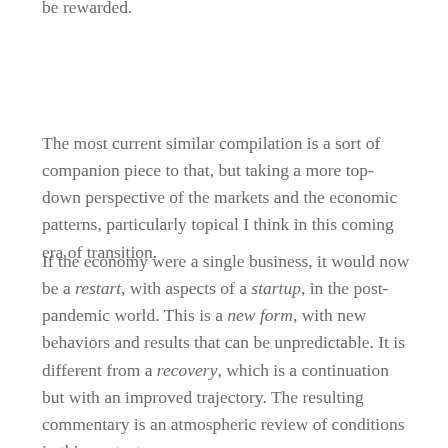be rewarded.
The most current similar compilation is a sort of companion piece to that, but taking a more top-down perspective of the markets and the economic patterns, particularly topical I think in this coming era of transition.
If the economy were a single business, it would now be a restart, with aspects of a startup, in the post-pandemic world. This is a new form, with new behaviors and results that can be unpredictable. It is different from a recovery, which is a continuation but with an improved trajectory. The resulting commentary is an atmospheric review of conditions in this context.